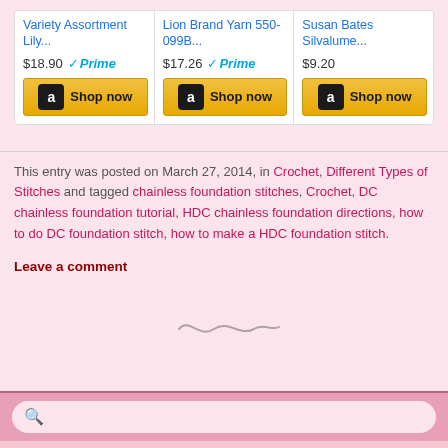[Figure (screenshot): Amazon product listing row with three products: Variety Assortment Lily... at $18.90 with Prime, Lion Brand Yarn 550-099B... at $17.26 with Prime, Susan Bates Silvalume... at $9.20. Each has a Shop now button with Amazon logo.]
This entry was posted on March 27, 2014, in Crochet, Different Types of Stitches and tagged chainless foundation stitches, Crochet, DC chainless foundation tutorial, HDC chainless foundation directions, how to do DC foundation stitch, how to make a HDC foundation stitch.
Leave a comment
[Figure (illustration): Decorative swirl/tilde divider symbol]
[Figure (screenshot): Search bar with magnifying glass icon on pink background]